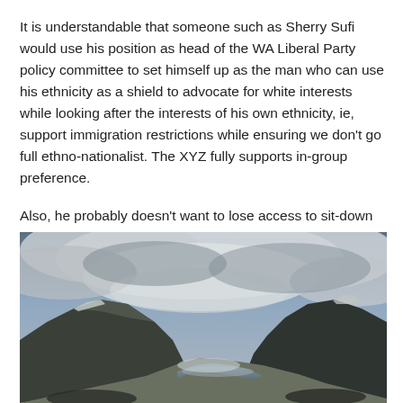It is understandable that someone such as Sherry Sufi would use his position as head of the WA Liberal Party policy committee to set himself up as the man who can use his ethnicity as a shield to advocate for white interests while looking after the interests of his own ethnicity, ie, support immigration restrictions while ensuring we don't go full ethno-nationalist. The XYZ fully supports in-group preference.
Also, he probably doesn't want to lose access to sit-down dunnies:
[Figure (photo): A dramatic landscape photograph showing a wide glacial valley with a river or glacial lake running through the centre. Mountains rise steeply on both sides, with snow visible on the peaks. A large dramatic cloudy sky dominates the upper portion of the image with grey and white clouds. The overall tone is dark and moody.]